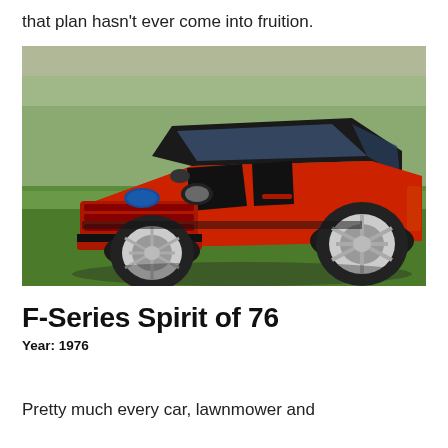that plan hasn't ever come into fruition.
[Figure (photo): A red and black Ford F-Series SUV concept vehicle (Expedition-based) with chrome wheels, parked on green grass in front of a stadium or ballfield background.]
F-Series Spirit of 76
Year: 1976
Pretty much every car, lawnmower and